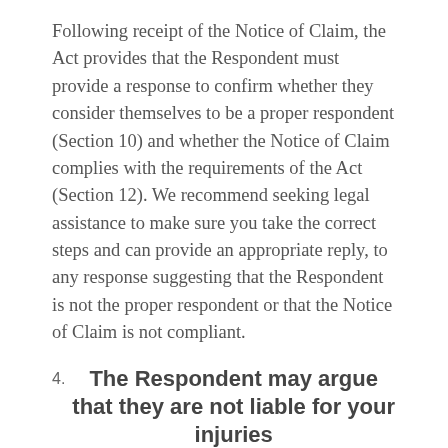Following receipt of the Notice of Claim, the Act provides that the Respondent must provide a response to confirm whether they consider themselves to be a proper respondent (Section 10) and whether the Notice of Claim complies with the requirements of the Act (Section 12). We recommend seeking legal assistance to make sure you take the correct steps and can provide an appropriate reply, to any response suggesting that the Respondent is not the proper respondent or that the Notice of Claim is not compliant.
4. The Respondent may argue that they are not liable for your injuries
After you have provided the Notice of Claim,